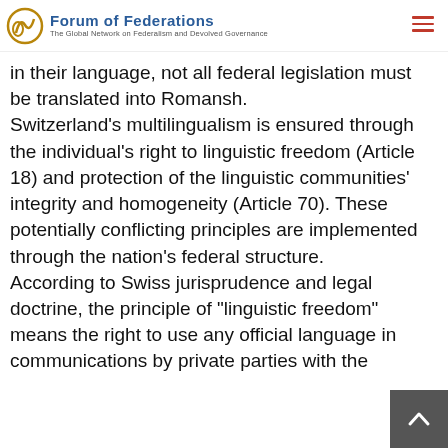Forum of Federations — The Global Network on Federalism and Devolved Governance
in their language, not all federal legislation must be translated into Romansh. Switzerland's multilingualism is ensured through the individual's right to linguistic freedom (Article 18) and protection of the linguistic communities' integrity and homogeneity (Article 70). These potentially conflicting principles are implemented through the nation's federal structure. According to Swiss jurisprudence and legal doctrine, the principle of "linguistic freedom" means the right to use any official language in communications by private parties with the